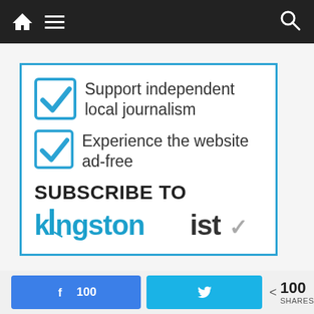[Figure (screenshot): Dark navigation bar with home icon, hamburger menu icon on left and search icon on right]
[Figure (infographic): Blue-bordered subscription box with two checked checkboxes: 'Support independent local journalism' and 'Experience the website ad-free', followed by 'SUBSCRIBE TO' text and kingtonist logo]
Support independent local journalism
Experience the website ad-free
SUBSCRIBE TO
kingtonist
[Figure (screenshot): Bottom share bar with Facebook button showing 100 and Twitter button, plus share count of 100 SHARES]